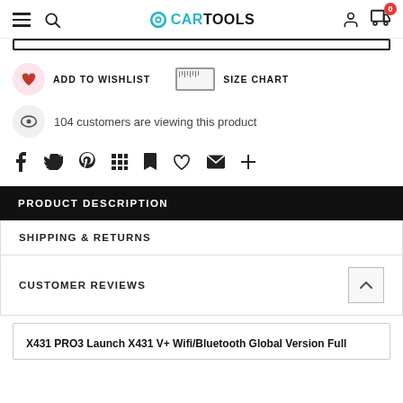CARTOOLS — navigation bar with hamburger, search, logo, user and cart icons
ADD TO WISHLIST   SIZE CHART
104 customers are viewing this product
Social share icons: Facebook, Twitter, Pinterest, Grid, Bookmark, Heart, Email, Plus
PRODUCT DESCRIPTION
SHIPPING & RETURNS
CUSTOMER REVIEWS
X431 PRO3 Launch X431 V+ Wifi/Bluetooth Global Version Full